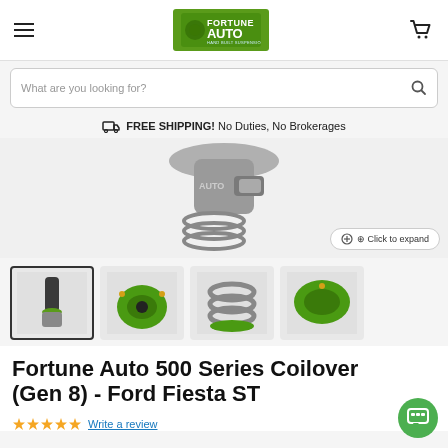[Figure (logo): Fortune Auto logo with green background, tachometer graphic, white text reading FORTUNE AUTO HAND BUILT SUSPENSION]
What are you looking for?
FREE SHIPPING! No Duties, No Brokerages
[Figure (photo): Close-up of a coilover suspension component, metallic grey and black, partial view]
Click to expand
[Figure (photo): Full coilover assembly with green and silver finish, product thumbnail 1 (selected)]
[Figure (photo): Top mount of coilover in green, product thumbnail 2]
[Figure (photo): Coilover spring detail in silver, product thumbnail 3]
[Figure (photo): Top plate of coilover in green, product thumbnail 4]
Fortune Auto 500 Series Coilover (Gen 8) - Ford Fiesta ST
Write a review